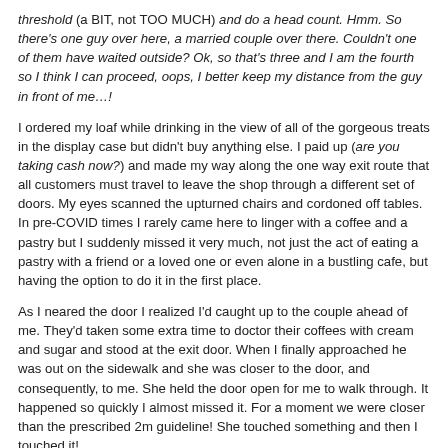threshold (a BIT, not TOO MUCH) and do a head count. Hmm. So there's one guy over here, a married couple over there. Couldn't one of them have waited outside? Ok, so that's three and I am the fourth so I think I can proceed, oops, I better keep my distance from the guy in front of me…!
I ordered my loaf while drinking in the view of all of the gorgeous treats in the display case but didn't buy anything else. I paid up (are you taking cash now?) and made my way along the one way exit route that all customers must travel to leave the shop through a different set of doors. My eyes scanned the upturned chairs and cordoned off tables. In pre-COVID times I rarely came here to linger with a coffee and a pastry but I suddenly missed it very much, not just the act of eating a pastry with a friend or a loved one or even alone in a bustling cafe, but having the option to do it in the first place.
As I neared the door I realized I'd caught up to the couple ahead of me. They'd taken some extra time to doctor their coffees with cream and sugar and stood at the exit door. When I finally approached he was out on the sidewalk and she was closer to the door, and consequently, to me. She held the door open for me to walk through. It happened so quickly I almost missed it. For a moment we were closer than the prescribed 2m guideline! She touched something and then I touched it!